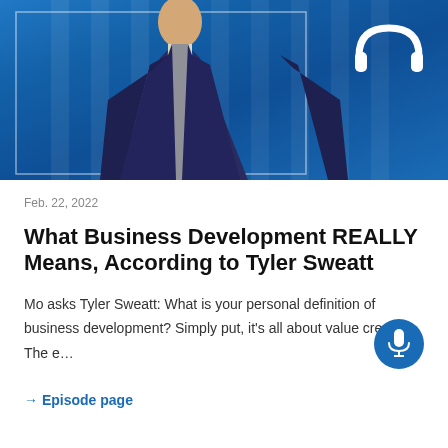[Figure (photo): Person in dark suit jacket on blue background with white headphones icon and rectangular frame overlay]
Feb. 22, 2022
What Business Development REALLY Means, According to Tyler Sweatt
Mo asks Tyler Sweatt: What is your personal definition of business development? Simply put, it's all about value creation. The e…
→ Episode page